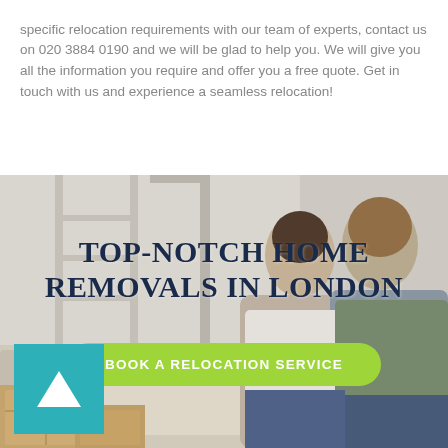specific relocation requirements with our team of experts, contact us on 020 3884 0190 and we will be glad to help you. We will give you all the information you require and offer you a free quote. Get in touch with us and experience a seamless relocation!
[Figure (photo): A couple sitting on a sofa with moving boxes in the background, overlaid with the text 'TOP-NOTCH HOME REMOVALS IN LONDON' and a green 'BOOK A RELOCATION SERVICE' button, plus a teal play button icon in the bottom left corner.]